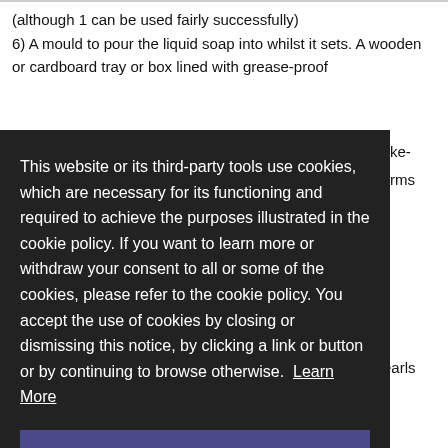(although 1 can be used fairly successfully)
6) A mould to pour the liquid soap into whilst it sets. A wooden or cardboard tray or box lined with grease-proof
This website or its third-party tools use cookies, which are necessary for its functioning and required to achieve the purposes illustrated in the cookie policy. If you want to learn more or withdraw your consent to all or some of the cookies, please refer to the cookie policy. You accept the use of cookies by closing or dismissing this notice, by clicking a link or button or by continuing to browse otherwise. Learn More
Close
olive oil (preferably pomace grade but virgin or extra virgin will do)